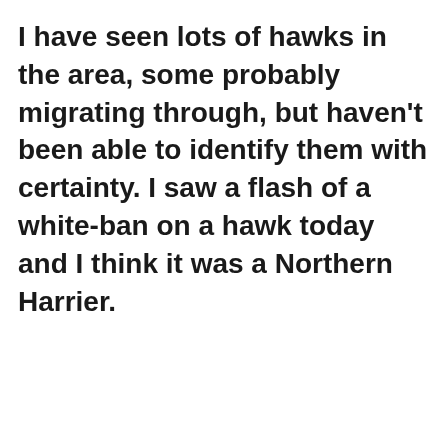I have seen lots of hawks in the area, some probably migrating through, but haven't been able to identify them with certainty. I saw a flash of a white-ban on a hawk today and I think it was a Northern Harrier.